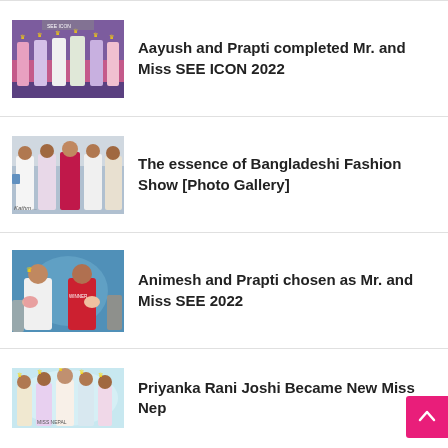[Figure (photo): Group of young women in colorful dresses and crowns/sashes on a stage at a pageant event]
Aayush and Prapti completed Mr. and Miss SEE ICON 2022
[Figure (photo): Women in traditional South Asian dress including sarees at a fashion show event]
The essence of Bangladeshi Fashion Show [Photo Gallery]
[Figure (photo): Two pageant winners with crowns holding bouquets at an event, one in red dress with WINNER sash]
Animesh and Prapti chosen as Mr. and Miss SEE 2022
[Figure (photo): Group of women with crowns and sashes at what appears to be a Miss Nepal pageant]
Priyanka Rani Joshi Became New Miss Nep…